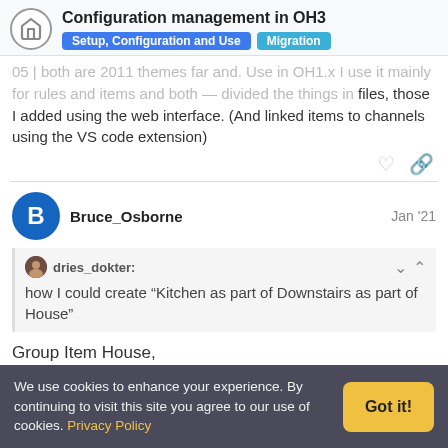Configuration management in OH3
Setup, Configuration and Use | Migration
mostly for rules and items and both — divided the things in files, those I added using the web interface. (And linked items to channels using the VS code extension)
Bruce_Osborne Jan '21
dries_dokter: how I could create “Kitchen as part of Downstairs as part of House”
Group Item House,
We use cookies to enhance your experience. By continuing to visit this site you agree to our use of cookies. Privacy Policy   Got it!